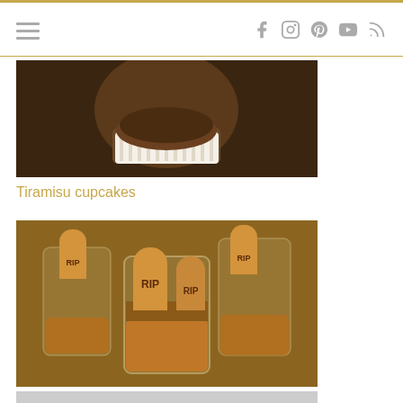Navigation header with hamburger menu and social icons (Facebook, Instagram, Pinterest, YouTube, RSS)
[Figure (photo): Close-up photo of a tiramisu cupcake in a paper liner on a dark wooden surface]
Tiramisu cupcakes
[Figure (photo): Halloween-themed vegan chocolate mousse cups with RIP cookie tombstone decorations]
Vegan chocolate mousse with cookies – Halloween
[Figure (photo): Partially visible image at the bottom of the page]